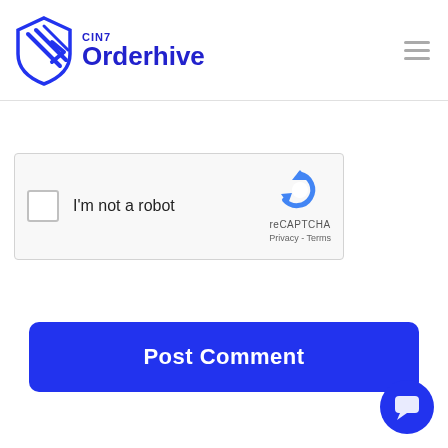[Figure (logo): CIN7 Orderhive logo with blue geometric shield/arrow icon and blue text]
[Figure (other): reCAPTCHA widget with checkbox, 'I'm not a robot' text, reCAPTCHA logo, Privacy and Terms links]
Post Comment
[Figure (other): Blue circular chat bubble button in bottom right corner]